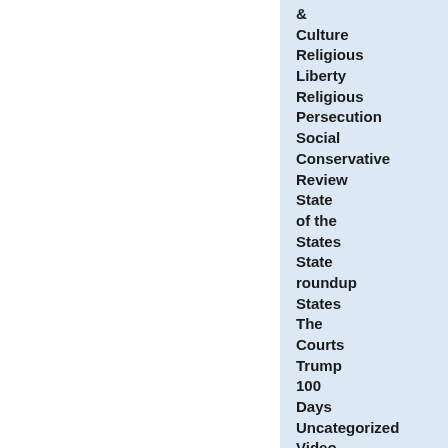& Culture
Religious Liberty
Religious Persecution
Social Conservative Review
State of the States
State roundup
States
The Courts
Trump 100 Days
Uncategorized
Video